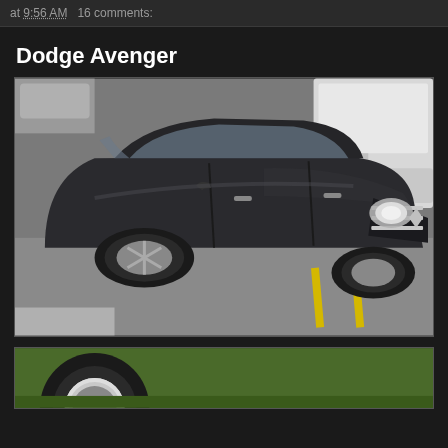at 9:56 AM   16 comments:
Dodge Avenger
[Figure (photo): Photo of a dark black/dark purple Dodge Avenger sedan parked in a parking lot, front three-quarter view, with other vehicles visible in the background including a white SUV/van on the right.]
[Figure (photo): Partial photo visible at bottom of page, showing what appears to be a car wheel/tire detail on a green background.]